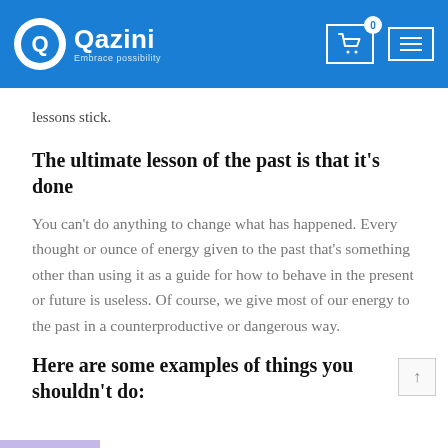Qazini – Embrace possibility
lessons stick.
The ultimate lesson of the past is that it's done
You can't do anything to change what has happened. Every thought or ounce of energy given to the past that's something other than using it as a guide for how to behave in the present or future is useless. Of course, we give most of our energy to the past in a counterproductive or dangerous way.
Here are some examples of things you shouldn't do: